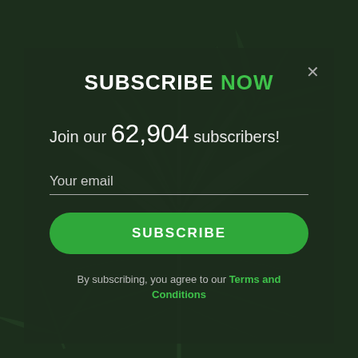[Figure (photo): Dark green cannabis leaf background image]
SUBSCRIBE NOW
Join our 62,904 subscribers!
Your email
SUBSCRIBE
By subscribing, you agree to our Terms and Conditions